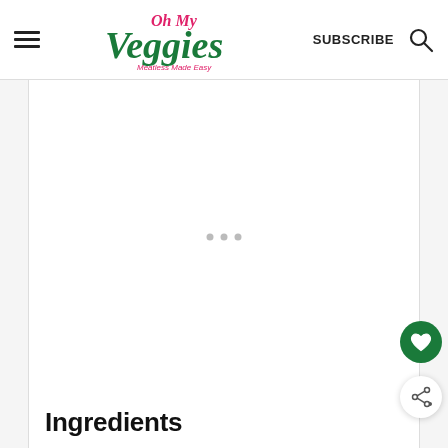Oh My Veggies — Meatless Made Easy | SUBSCRIBE
[Figure (other): Large blank/loading ad placeholder area with three gray loading dots in the center]
Ingredients